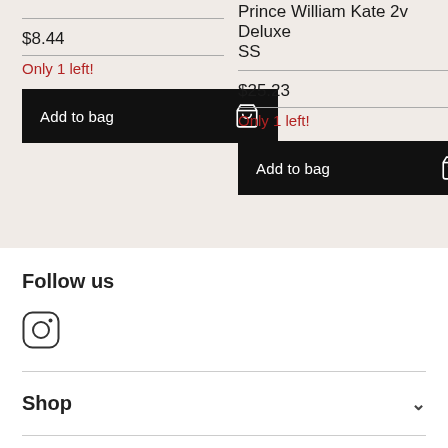$8.44
Only 1 left!
Add to bag
Prince William Kate 2v Deluxe SS
$25.23
Only 1 left!
Add to bag
Follow us
[Figure (illustration): Instagram logo icon (rounded square with circle)]
Shop
Information